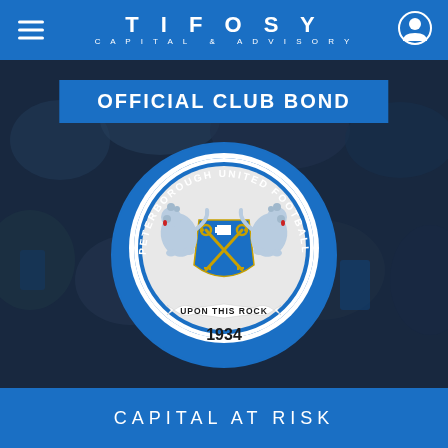TIFOSY CAPITAL & ADVISORY
OFFICIAL CLUB BOND
[Figure (logo): Peterborough United Football Club crest — circular badge with two silver lions flanking a blue and gold shield with crossed keys, text reading PETERBOROUGH UNITED FOOTBALL CLUB around the rim, ribbon banner reading UPON THIS ROCK, and year 1934 at the bottom]
CAPITAL AT RISK